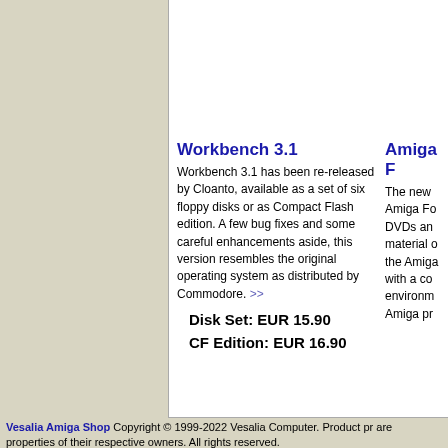Workbench 3.1
Workbench 3.1 has been re-released by Cloanto, available as a set of six floppy disks or as Compact Flash edition. A few bug fixes and some careful enhancements aside, this version resembles the original operating system as distributed by Commodore. >>
Disk Set: EUR 15.90
CF Edition: EUR 16.90
Amiga F
The new Amiga Fo DVDs an material o the Amiga with a co environm Amiga pr
Vesalia Amiga Shop Copyright © 1999-2022 Vesalia Computer. Product pr are properties of their respective owners. All rights reserved.